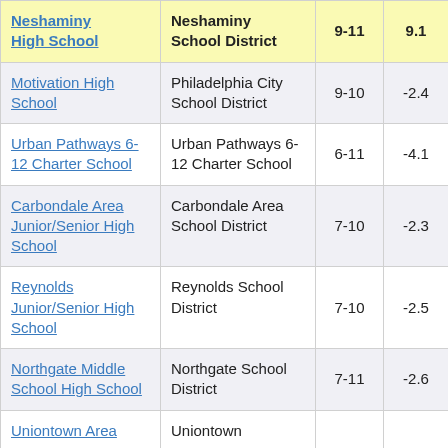| School | District | Grades | Score |
| --- | --- | --- | --- |
| Neshaminy High School | Neshaminy School District | 9-11 | 9.1 |
| Motivation High School | Philadelphia City School District | 9-10 | -2.4 |
| Urban Pathways 6-12 Charter School | Urban Pathways 6-12 Charter School | 6-11 | -4.1 |
| Carbondale Area Junior/Senior High School | Carbondale Area School District | 7-10 | -2.3 |
| Reynolds Junior/Senior High School | Reynolds School District | 7-10 | -2.5 |
| Northgate Middle School High School | Northgate School District | 7-11 | -2.6 |
| Uniontown Area ... | Uniontown ... |  |  |